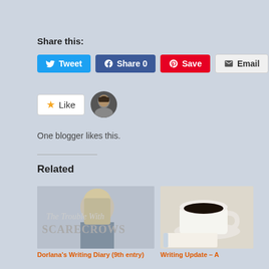Share this:
[Figure (screenshot): Social sharing buttons: Tweet (Twitter/blue), Share 0 (Facebook/blue), Save (Pinterest/red), Email (grey)]
[Figure (screenshot): Like button with star icon and blogger avatar. Text: One blogger likes this.]
One blogger likes this.
Related
[Figure (photo): Book cover: The Trouble With Scarecrows]
Dorlana's Writing Diary (9th entry)
[Figure (photo): Photo of a coffee cup on a saucer next to a notebook]
Writing Update – A